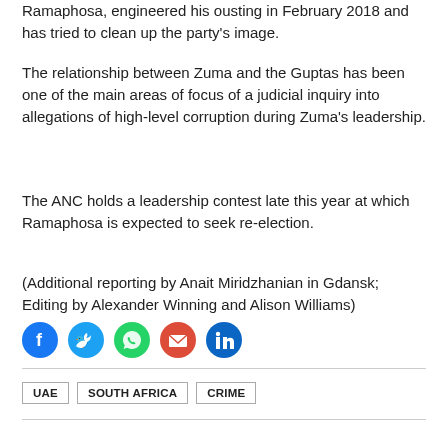Ramaphosa, engineered his ousting in February 2018 and has tried to clean up the party's image.
The relationship between Zuma and the Guptas has been one of the main areas of focus of a judicial inquiry into allegations of high-level corruption during Zuma's leadership.
The ANC holds a leadership contest late this year at which Ramaphosa is expected to seek re-election.
(Additional reporting by Anait Miridzhanian in Gdansk; Editing by Alexander Winning and Alison Williams)
[Figure (infographic): Social media share icons: Facebook (blue), Twitter (blue), WhatsApp (green), Email (red), LinkedIn (blue)]
UAE   SOUTH AFRICA   CRIME